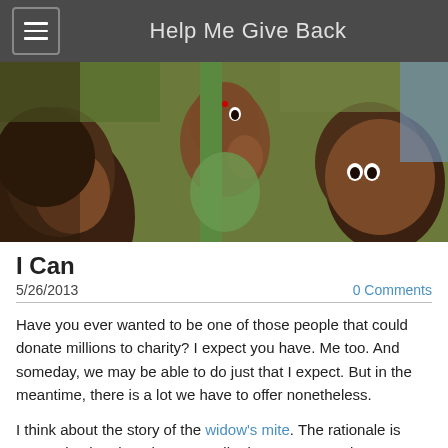Help Me Give Back
[Figure (photo): Close-up photograph of three Indian children looking at the camera, with green and blue elements in the background.]
I Can
5/26/2013
0 Comments
Have you ever wanted to be one of those people that could donate millions to charity? I expect you have. Me too. And someday, we may be able to do just that I expect. But in the meantime, there is a lot we have to offer nonetheless.
I think about the story of the widow's mite. The rationale is pretty simple. Though our contributions are not as immense or influential as another's, they are significant and meaningful to us. One reason that